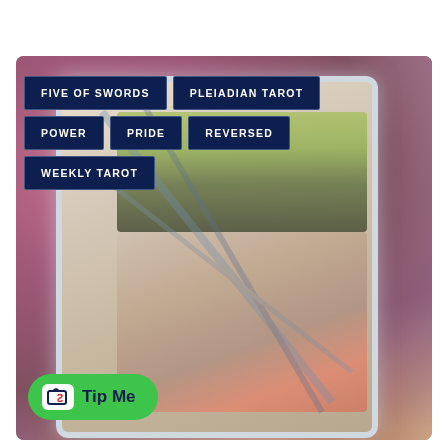[Figure (illustration): A blurred tarot card (Five of Swords from Pleiadian Tarot) shown reversed, with colorful imagery. The card sits on a colorful blurred background. Dark navy tag labels overlay the top portion of the image.]
FIVE OF SWORDS
PLEIADIAN TAROT
POWER
PRIDE
REVERSED
WEEKLY TAROT
Tip Me